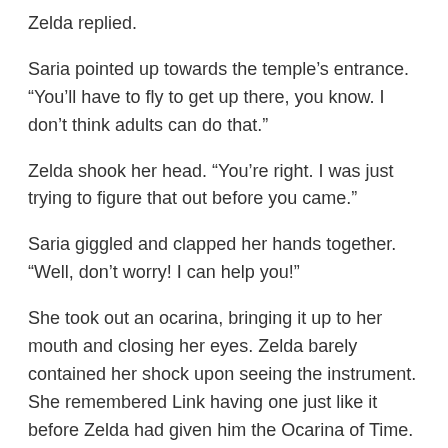Zelda replied.
Saria pointed up towards the temple's entrance. “You'll have to fly to get up there, you know. I don’t think adults can do that.”
Zelda shook her head. “You’re right. I was just trying to figure that out before you came.”
Saria giggled and clapped her hands together. “Well, don’t worry! I can help you!”
She took out an ocarina, bringing it up to her mouth and closing her eyes. Zelda barely contained her shock upon seeing the instrument. She remembered Link having one just like it before Zelda had given him the Ocarina of Time. Saria began playing a serene